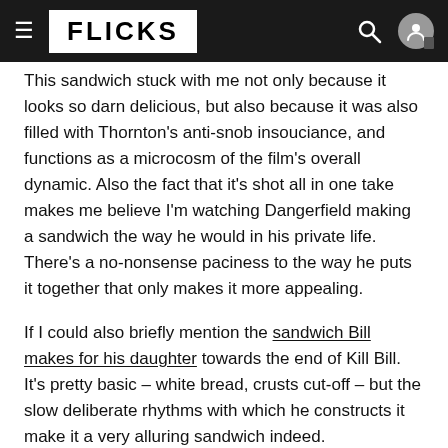FLICKS
This sandwich stuck with me not only because it looks so darn delicious, but also because it was also filled with Thornton's anti-snob insouciance, and functions as a microcosm of the film's overall dynamic. Also the fact that it's shot all in one take makes me believe I'm watching Dangerfield making a sandwich the way he would in his private life. There's a no-nonsense paciness to the way he puts it together that only makes it more appealing.
If I could also briefly mention the sandwich Bill makes for his daughter towards the end of Kill Bill. It's pretty basic – white bread, crusts cut-off – but the slow deliberate rhythms with which he constructs it make it a very alluring sandwich indeed.
1988's Midnight Run, one of my all-time favourite movies